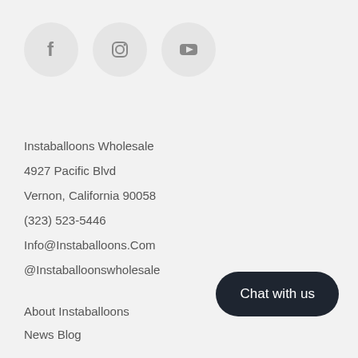[Figure (illustration): Three social media icon circles: Facebook (f), Instagram (camera icon), YouTube (play button)]
Instaballoons Wholesale
4927 Pacific Blvd
Vernon, California 90058
(323) 523-5446
Info@Instaballoons.Com
@Instaballoonswholesale
Chat with us
About Instaballoons
News Blog